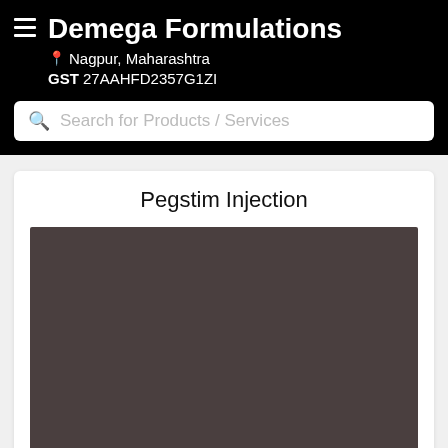Demega Formulations
Nagpur, Maharashtra
GST 27AAHFD2357G1ZI
Search for Products / Services
Pegstim Injection
[Figure (photo): Dark brownish-grey rectangular placeholder image for Pegstim Injection product photo]